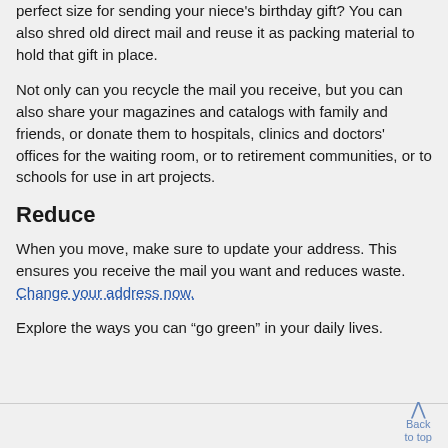perfect size for sending your niece's birthday gift? You can also shred old direct mail and reuse it as packing material to hold that gift in place.
Not only can you recycle the mail you receive, but you can also share your magazines and catalogs with family and friends, or donate them to hospitals, clinics and doctors' offices for the waiting room, or to retirement communities, or to schools for use in art projects.
Reduce
When you move, make sure to update your address. This ensures you receive the mail you want and reduces waste. Change your address now.
Explore the ways you can “go green” in your daily lives.
Back to top